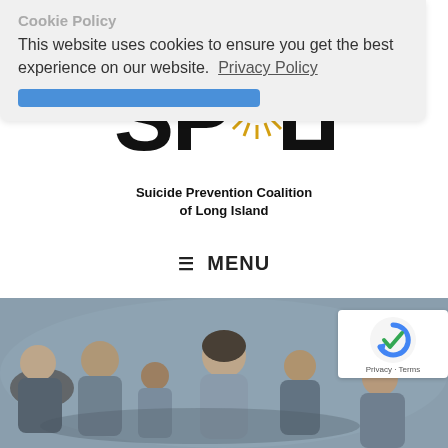Cookie Policy
This website uses cookies to ensure you get the best experience on our website. Privacy Policy
[Figure (logo): SPCLI logo — large bold letters S P C L I with a golden sunburst replacing the O in SPCLI, with a diagonal line through it. Below: Suicide Prevention Coalition of Long Island]
☰ MENU
[Figure (photo): Group of people sitting in a circle, appearing to be in a support group or meeting. A woman in grey is speaking to the group.]